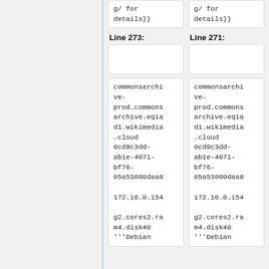g/ for
details}}
g/ for
details}}
Line 273:
Line 271:
commonsarchive-prod.commonsarchive.eqiad1.wikimedia.cloud
0cd9c3dd-ab1e-4071-bf76-05a53800daa8

172.16.0.154

g2.cores2.ram4.disk40
'''Debian
commonsarchive-prod.commonsarchive.eqiad1.wikimedia.cloud
0cd9c3dd-ab1e-4071-bf76-05a53800daa8

172.16.0.154

g2.cores2.ram4.disk40
'''Debian